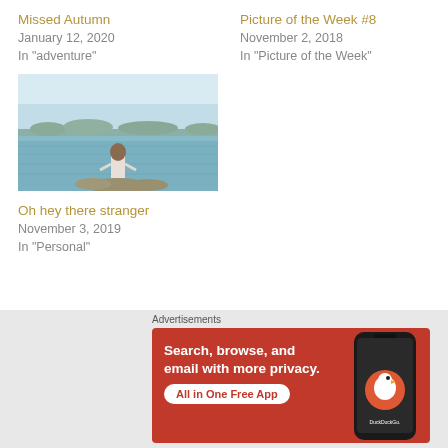Missed Autumn
January 12, 2020
In "adventure"
Picture of the Week #8
November 2, 2018
In "Picture of the Week"
[Figure (photo): Person standing on rocks at water's edge, looking out over a calm sea or lake, with a light blue sky and distant land on the horizon.]
Oh hey there stranger
November 3, 2019
In "Personal"
Advertisements
[Figure (screenshot): DuckDuckGo advertisement banner on orange/red background. Text reads: Search, browse, and email with more privacy. All in One Free App. Shows DuckDuckGo logo on a phone mockup.]